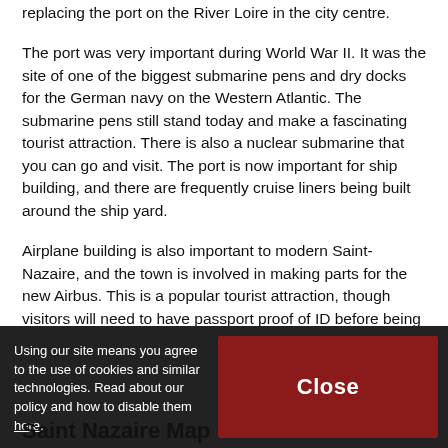replacing the port on the River Loire in the city centre.
The port was very important during World War II. It was the site of one of the biggest submarine pens and dry docks for the German navy on the Western Atlantic. The submarine pens still stand today and make a fascinating tourist attraction. There is also a nuclear submarine that you can go and visit. The port is now important for ship building, and there are frequently cruise liners being built around the ship yard.
Airplane building is also important to modern Saint-Nazaire, and the town is involved in making parts for the new Airbus. This is a popular tourist attraction, though visitors will need to have passport proof of ID before being allowed to take part in the tour. Of course, one of the most popular reasons for people to travel to Saint Nazaire is to travel across the bridges.
Using our site means you agree to the use of cookies and similar technologies. Read about our policy and how to disable them here.
Saint Nazaire Map